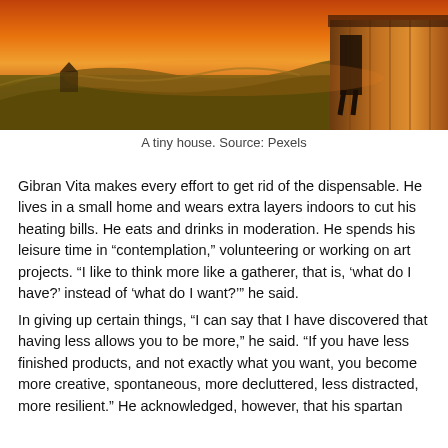[Figure (photo): A landscape photo of a small wooden cabin (tiny house) at sunset/dusk, with golden-orange sky, rolling hills and grasslands in the background.]
A tiny house. Source: Pexels
Gibran Vita makes every effort to get rid of the dispensable. He lives in a small home and wears extra layers indoors to cut his heating bills. He eats and drinks in moderation. He spends his leisure time in “contemplation,” volunteering or working on art projects. “I like to think more like a gatherer, that is, ‘what do I have?’ instead of ‘what do I want?’” he said.
In giving up certain things, “I can say that I have discovered that having less allows you to be more,” he said. “If you have less finished products, and not exactly what you want, you become more creative, spontaneous, more decluttered, less distracted, more resilient.” He acknowledged, however, that his spartan lifestyle…